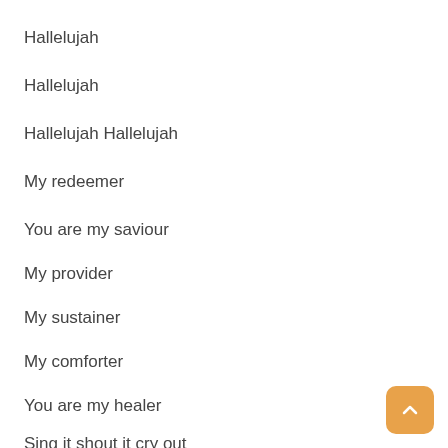Hallelujah
Hallelujah
Hallelujah Hallelujah
My redeemer
You are my saviour
My provider
My sustainer
My comforter
You are my healer
Sing it shout it cry out